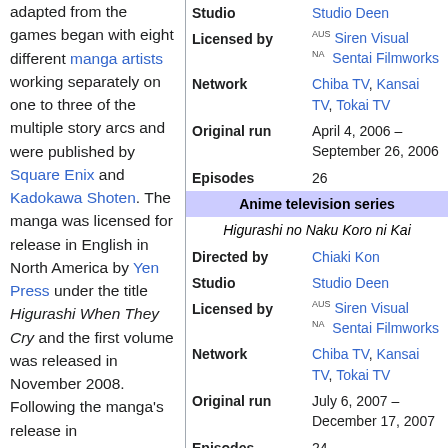adapted from the games began with eight different manga artists working separately on one to three of the multiple story arcs and were published by Square Enix and Kadokawa Shoten. The manga was licensed for release in English in North America by Yen Press under the title Higurashi When They Cry and the first volume was released in November 2008. Following the manga's release in
| Studio | Studio Deen |
| Licensed by | AUS Siren Visual
NA Sentai Filmworks |
| Network | Chiba TV, Kansai TV, Tokai TV |
| Original run | April 4, 2006 – September 26, 2006 |
| Episodes | 26 |
| Anime television series |  |
| Higurashi no Naku Koro ni Kai |  |
| Directed by | Chiaki Kon |
| Studio | Studio Deen |
| Licensed by | AUS Siren Visual
NA Sentai Filmworks |
| Network | Chiba TV, Kansai TV, Tokai TV |
| Original run | July 6, 2007 – December 17, 2007 |
| Episodes | 24 |
| Novel series |  |
| Written by | Ryukishi07 |
| Published by | Kodansha Box |